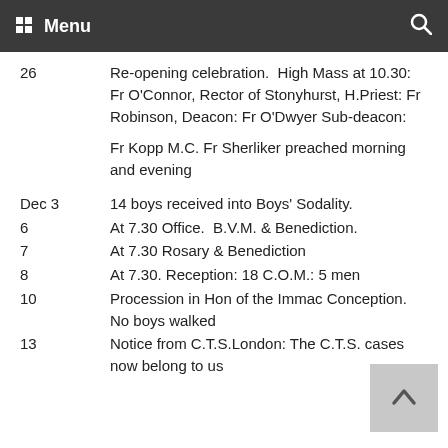Menu
26    Re-opening celebration.  High Mass at 10.30: Fr O'Connor, Rector of Stonyhurst, H.Priest: Fr Robinson, Deacon: Fr O'Dwyer Sub-deacon:

Fr Kopp M.C. Fr Sherliker preached morning and evening
Dec 3    14 boys received into Boys' Sodality.
6    At 7.30 Office.  B.V.M. & Benediction.
7    At 7.30 Rosary & Benediction
8    At 7.30. Reception: 18 C.O.M.: 5 men
10    Procession in Hon of the Immac Conception.  No boys walked
13    Notice from C.T.S.London: The C.T.S. cases now belong to us